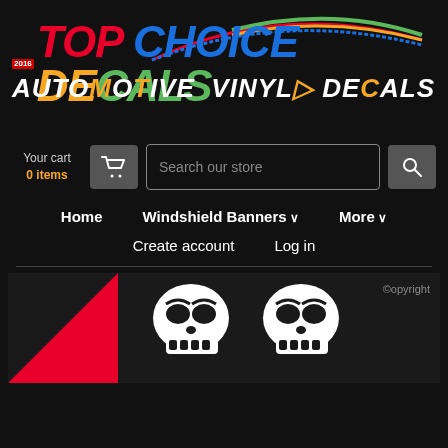[Figure (logo): Top Choice Decals logo with multicolor text and arc graphic, subtitle Automotive Vinyl Decals]
Your cart
0 items
Search our store
Home
Windshield Banners
More
Create account
Log in
[Figure (illustration): Skull graphic on black background with red triangle in lower left corner and copyright watermark]